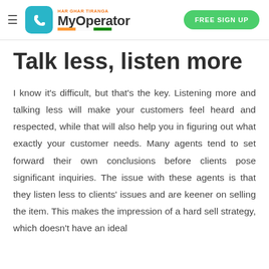MyOperator — FREE SIGN UP
Talk less, listen more
I know it's difficult, but that's the key. Listening more and talking less will make your customers feel heard and respected, while that will also help you in figuring out what exactly your customer needs. Many agents tend to set forward their own conclusions before clients pose significant inquiries. The issue with these agents is that they listen less to clients' issues and are keener on selling the item. This makes the impression of a hard sell strategy, which doesn't have an ideal